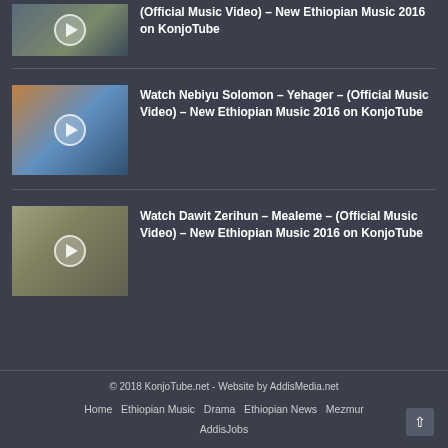[Figure (screenshot): Partial top article thumbnail showing a woman in dark top, partially cropped]
(Official Music Video) – New Ethiopian Music 2016 on KonjoTube
[Figure (screenshot): Video thumbnail: person in orange/yellow against blue sky backdrop with play button]
Watch Nebiyu Solomon – Yehager – (Official Music Video) – New Ethiopian Music 2016 on KonjoTube
[Figure (screenshot): Video thumbnail: three dancers in matching outfits with play button overlay]
Watch Dawit Zerihun – Mealeme – (Official Music Video) – New Ethiopian Music 2016 on KonjoTube
© 2018 KonjoTube.net - Website by AddisMedia.net   Home   Ethiopian Music   Drama   Ethiopian News   Mezmur   AddisJobs